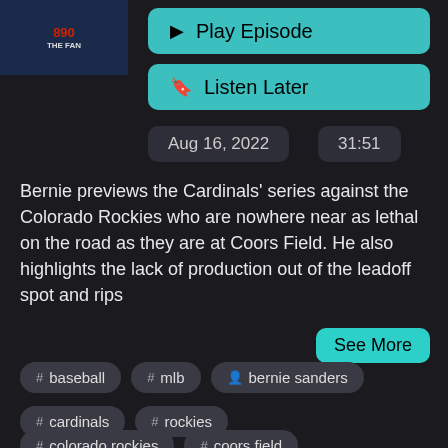[Figure (logo): 890 radio station logo thumbnail on dark blue background]
▶  Play Episode
🔖  Listen Later
Aug 16, 2022
31:51
Bernie previews the Cardinals' series against the Colorado Rockies who are nowhere near as lethal on the road as they are at Coors Field. He also highlights the lack of production out of the leadoff spot and rips
See More
# baseball
# mlb
👤 bernie sanders
# cardinals
# rockies
# colorado rockies
# coors field